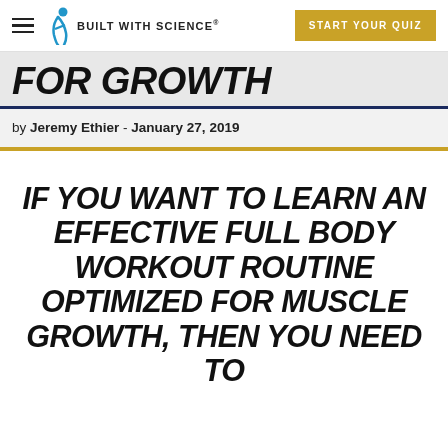Built With Science — START YOUR QUIZ
FOR GROWTH
by Jeremy Ethier - January 27, 2019
IF YOU WANT TO LEARN AN EFFECTIVE FULL BODY WORKOUT ROUTINE OPTIMIZED FOR MUSCLE GROWTH, THEN YOU NEED TO